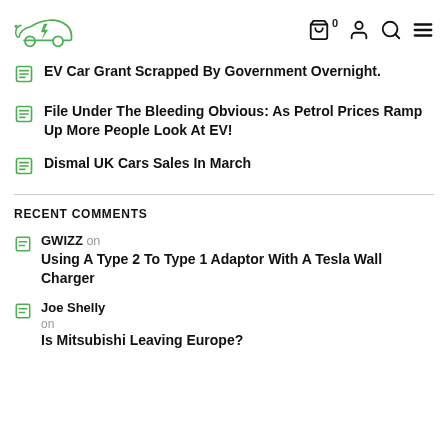[Figure (logo): Green electric car logo with lightning bolt]
EV Car Grant Scrapped By Government Overnight.
File Under The Bleeding Obvious: As Petrol Prices Ramp Up More People Look At EV!
Dismal UK Cars Sales In March
RECENT COMMENTS
GWIZZ on Using A Type 2 To Type 1 Adaptor With A Tesla Wall Charger
Joe Shelly on Is Mitsubishi Leaving Europe?